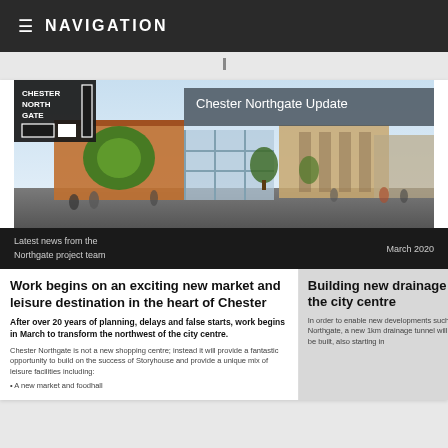≡  NAVIGATION
[Figure (illustration): Chester Northgate architectural rendering showing new market and leisure development with people in a plaza. Banner shows Chester Northgate Update title and logo.]
Latest news from the Northgate project team
March 2020
Work begins on an exciting new market and leisure destination in the heart of Chester
After over 20 years of planning, delays and false starts, work begins in March to transform the northwest of the city centre.
Chester Northgate is not a new shopping centre; instead it will provide a fantastic opportunity to build on the success of Storyhouse and provide a unique mix of leisure facilities including:
A new market and foodhall
Building new drainage for the city centre
In order to enable new developments such as Northgate, a new 1km drainage tunnel will need to be built, also starting in